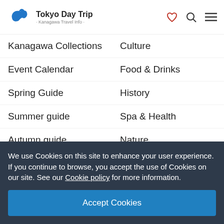Tokyo Day Trip · Kanagawa Travel Info ·
Kanagawa Collections
Culture
Event Calendar
Food & Drinks
Spring Guide
History
Summer guide
Spa & Health
Autumn guide
Nature
Winter guide
Shopping
Explore all
All things to do
We use Cookies on this site to enhance your user experience. If you continue to browse, you accept the use of Cookies on our site. See our Cookie policy for more information.
Accept Cookies